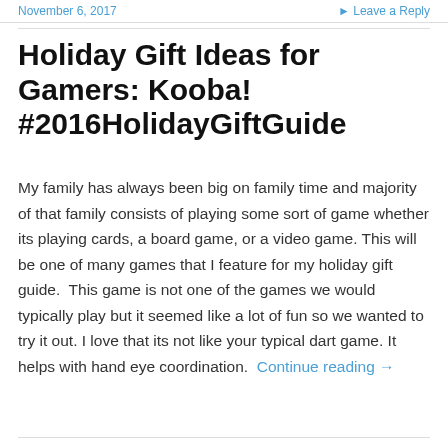November 6, 2017    Leave a Reply
Holiday Gift Ideas for Gamers: Kooba! #2016HolidayGiftGuide
My family has always been big on family time and majority of that family consists of playing some sort of game whether its playing cards, a board game, or a video game. This will be one of many games that I feature for my holiday gift guide.  This game is not one of the games we would typically play but it seemed like a lot of fun so we wanted to try it out. I love that its not like your typical dart game. It helps with hand eye coordination.  Continue reading →